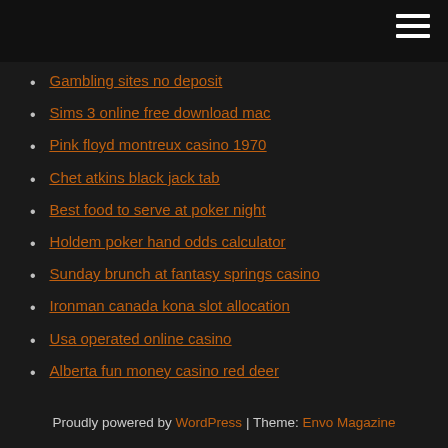Gambling sites no deposit
Sims 3 online free download mac
Pink floyd montreux casino 1970
Chet atkins black jack tab
Best food to serve at poker night
Holdem poker hand odds calculator
Sunday brunch at fantasy springs casino
Ironman canada kona slot allocation
Usa operated online casino
Alberta fun money casino red deer
Casino rentals long beach ca
Proudly powered by WordPress | Theme: Envo Magazine